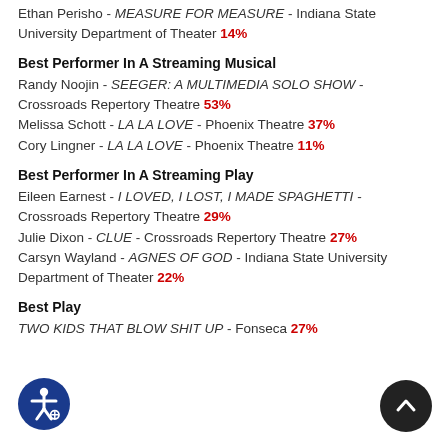Ethan Perisho - MEASURE FOR MEASURE - Indiana State University Department of Theater 14%
Best Performer In A Streaming Musical
Randy Noojin - SEEGER: A MULTIMEDIA SOLO SHOW - Crossroads Repertory Theatre 53%
Melissa Schott - LA LA LOVE - Phoenix Theatre 37%
Cory Lingner - LA LA LOVE - Phoenix Theatre 11%
Best Performer In A Streaming Play
Eileen Earnest - I LOVED, I LOST, I MADE SPAGHETTI - Crossroads Repertory Theatre 29%
Julie Dixon - CLUE - Crossroads Repertory Theatre 27%
Carsyn Wayland - AGNES OF GOD - Indiana State University Department of Theater 22%
Best Play
TWO KIDS THAT BLOW SHIT UP - Fonseca 27%